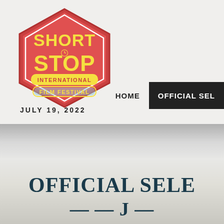[Figure (logo): Short Stop International Film Festival hexagonal logo in red/coral with yellow text]
JULY 19, 2022
HOME   OFFICIAL SEL...
OFFICIAL SELE...
partial date line at bottom